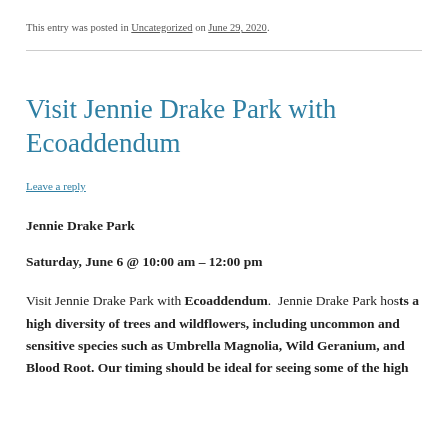This entry was posted in Uncategorized on June 29, 2020.
Visit Jennie Drake Park with Ecoaddendum
Leave a reply
Jennie Drake Park
Saturday, June 6 @ 10:00 am – 12:00 pm
Visit Jennie Drake Park with Ecoaddendum.  Jennie Drake Park hosts a high diversity of trees and wildflowers, including uncommon and sensitive species such as Umbrella Magnolia, Wild Geranium, and Blood Root. Our timing should be ideal for seeing some of the high